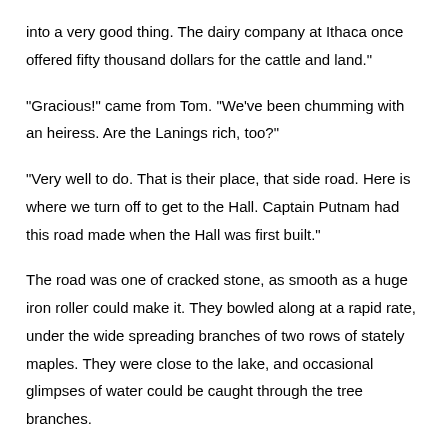into a very good thing.  The dairy company at Ithaca once offered fifty thousand dollars for the cattle and land."
"Gracious!" came from Tom.  "We've been chumming with an heiress.  Are the Lanings rich, too?"
"Very well to do.  That is their place, that side road.  Here is where we turn off to get to the Hall.  Captain Putnam had this road made when the Hall was first built."
The road was one of cracked stone, as smooth as a huge iron roller could make it.  They bowled along at a rapid rate, under the wide spreading branches of two rows of stately maples.  They were close to the lake, and occasional glimpses of water could be caught through the tree branches.